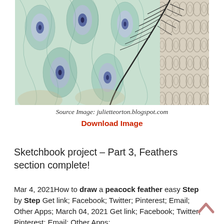[Figure (photo): Peacock feather wallpaper pattern showing teal and blue peacock eye feathers with an actual dark peacock feather overlay, and a grey geometric patterned wallpaper on the right side]
Source Image: julietteorton.blogspot.com
Download Image
Sketchbook project – Part 3, Feathers section complete!
Mar 4, 2021How to draw a peacock feather easy Step by Step Get link; Facebook; Twitter; Pinterest; Email; Other Apps; March 04, 2021 Get link; Facebook; Twitter; Pinterest; Email; Other Apps;